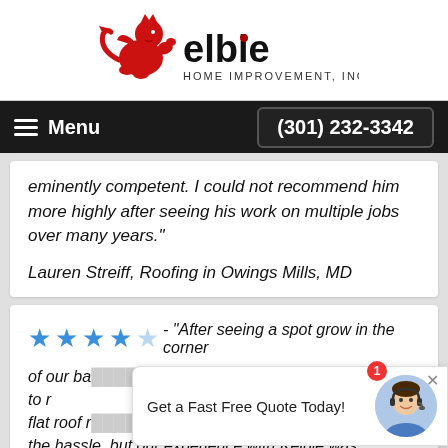[Figure (logo): Kelbie Home Improvement, Inc. logo with red lion/griffin mascot and text 'elbie HOME IMPROVEMENT, INC.']
Menu  (301) 232-3342
eminently competent. I could not recommend him more highly after seeing his work on multiple jobs over many years."
Lauren Streiff, Roofing in Owings Mills, MD
★★★★☆ - "After seeing a spot grow in the corner of our ba... to [repair] flat roof [needed]... [dread] the hassle, but our experience with Kelbie was anything but that. I called on a Saturday, fully
[Figure (other): Chat widget overlay showing agent photo and text 'Get a Fast Free Quote Today!' with notification badge showing 1]